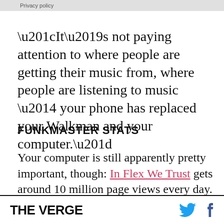Privacy policy
“It’s not paying attention to where people are getting their music from, where people are listening to music — your phone has replaced your Walkman and your computer.”
FUNKMASTER STATS
Your computer is still apparently pretty important, though: In Flex We Trust gets around 10 million page views every day. In a sea of poorly executed online radio strategies, it’s obvious that he puts as much care into crafting his online presence as he does into his radio show: his newsy WordPress site
THE VERGE